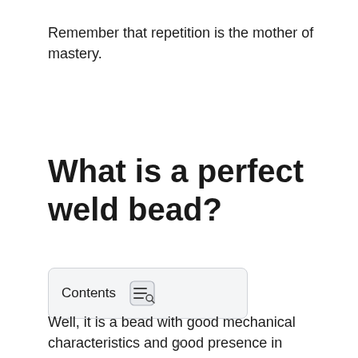Remember that repetition is the mother of mastery.
What is a perfect weld bead?
Contents
Well, it is a bead with good mechanical characteristics and good presence in general